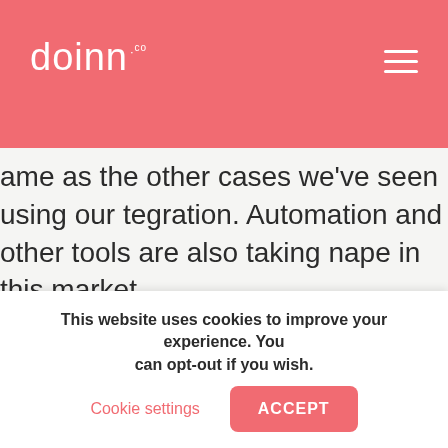doinn.co
ame as the other cases we've seen using our tegration. Automation and other tools are also taking nape in this market.
mart pricing tools, as Francisco points out, are a great ly for vacation rental hosts, and combined with smart cks, lighting systems, temperature controllers, and moke detectors they are a step closer to maximum ficiency for each property.
ur partner Smoobu also has a large number of tegrations to carry out your day-to-day tasks in a ore agile way.
This website uses cookies to improve your experience. You can opt-out if you wish. Cookie settings ACCEPT